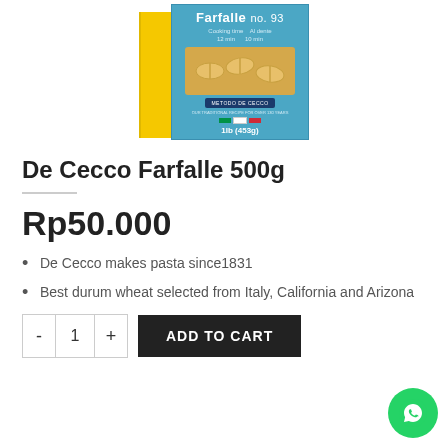[Figure (photo): De Cecco Farfalle no. 93 pasta product box with blue front panel and yellow side panel, showing 1lb (453g) package]
De Cecco Farfalle 500g
Rp50.000
De Cecco makes pasta since1831
Best durum wheat selected from Italy, California and Arizona
ADD TO CART